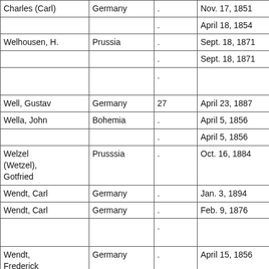| Name | Country | Age | Date | Document |
| --- | --- | --- | --- | --- |
| Charles (Carl) | Germany | . | Nov. 17, 1851 | Dec. |
|  |  | . | April 18, 1854 | Pet. |
| Welhousen, H. | Prussia | . | Sept. 18, 1871 | Aff. |
|  |  | . | Sept. 18, 1871 | Pet. |
|  |  | . |  | (Cert received |
| Well, Gustav | Germany | 27 | April 23, 1887 | Dec. |
| Wella, John | Bohemia | . | April 5, 1856 | Aff. |
|  |  | . | April 5, 1856 | Pet. |
| Welzel (Wetzel), Gotfried | Prusssia | . | Oct. 16, 1884 | Dec. |
| Wendt, Carl | Germany | . | Jan. 3, 1894 | Gran. |
| Wendt, Carl | Germany | . | Feb. 9, 1876 | Dec. |
|  |  | . |  | (Cert received |
| Wendt, Frederick | Germany | . | April 15, 1856 | Aff. |
|  |  | . | April 15, 1856 | Pet. |